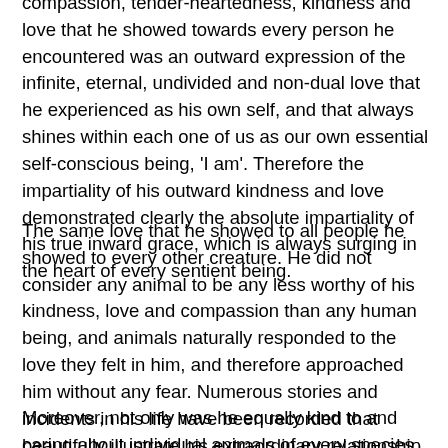compassion, tender-heartedness, kindness and love that he showed towards every person he encountered was an outward expression of the infinite, eternal, undivided and non-dual love that he experienced as his own self, and that always shines within each one of us as our own essential self-conscious being, 'I am'. Therefore the impartiality of his outward kindness and love demonstrated clearly the absolute impartiality of his true inward grace, which is always surging in the heart of every sentient being.
The same love that he showed to all people he showed to every other creature. He did not consider any animal to be any less worthy of his kindness, love and compassion than any human being, and animals naturally responded to the love they felt in him, and therefore approached him without any fear. Numerous stories and incidents in his life have been recorded that beautifully illustrate his extraordinary relationship with both wild and domesticated animals — the tender-heartedness, kindness, care and love that he showed to them, and their reciprocal fondness for and trust in him.
Moreover, not only was he equally kind to and caring about individual animals of every species, but he also showed his